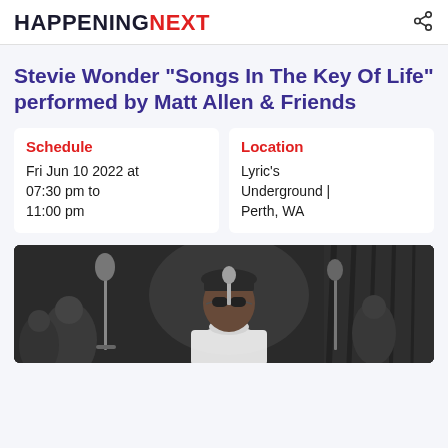HAPPENING NEXT
Stevie Wonder "Songs In The Key Of Life" performed by Matt Allen & Friends
Schedule
Fri Jun 10 2022 at 07:30 pm to 11:00 pm
Location
Lyric's Underground | Perth, WA
[Figure (photo): Black and white photo of a male performer wearing sunglasses and a turtleneck, standing at a microphone on stage]